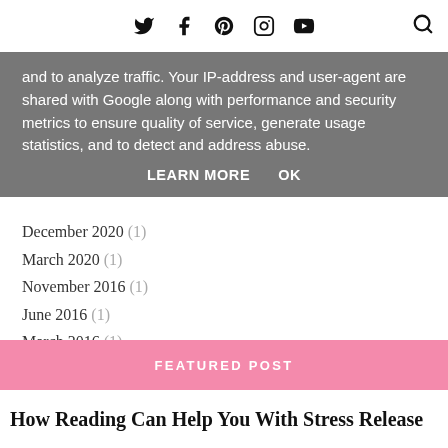Twitter Facebook Pinterest Instagram YouTube Search
and to analyze traffic. Your IP-address and user-agent are shared with Google along with performance and security metrics to ensure quality of service, generate usage statistics, and to detect and address abuse.
LEARN MORE   OK
December 2020 (1)
March 2020 (1)
November 2016 (1)
June 2016 (1)
March 2016 (1)
October 2015 (1)
FEATURED POST
How Reading Can Help You With Stress Release